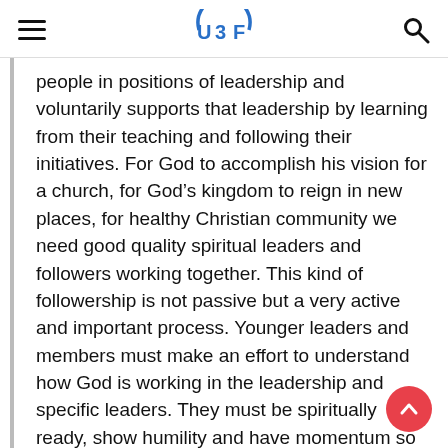UBF
people in positions of leadership and voluntarily supports that leadership by learning from their teaching and following their initiatives. For God to accomplish his vision for a church, for God's kingdom to reign in new places, for healthy Christian community we need good quality spiritual leaders and followers working together. This kind of followership is not passive but a very active and important process. Younger leaders and members must make an effort to understand how God is working in the leadership and specific leaders. They must be spiritually ready, show humility and have momentum so as not to put out the flame when, through a godly leader, God calls members to run